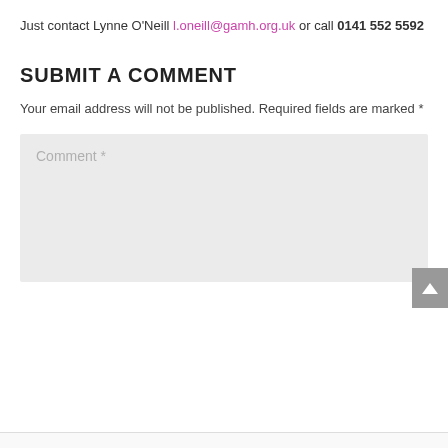Just contact Lynne O'Neill l.oneill@gamh.org.uk or call 0141 552 5592
SUBMIT A COMMENT
Your email address will not be published. Required fields are marked *
Comment *